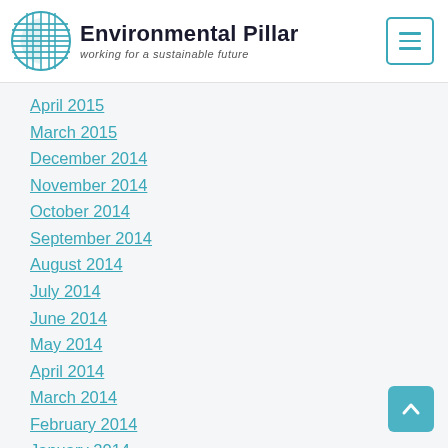Environmental Pillar – working for a sustainable future
April 2015
March 2015
December 2014
November 2014
October 2014
September 2014
August 2014
July 2014
June 2014
May 2014
April 2014
March 2014
February 2014
January 2014
November 2013